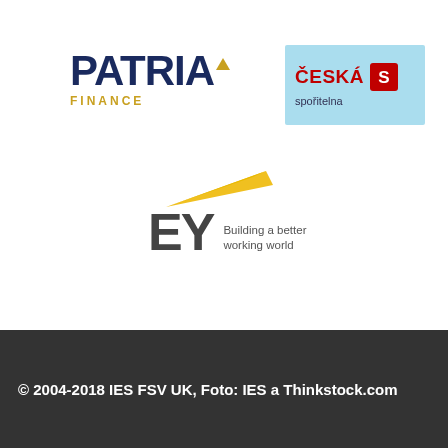[Figure (logo): Patria Finance logo — dark navy bold text PATRIA with a gold diamond accent, and FINANCE in gold small caps below]
[Figure (logo): Česká spořitelna logo — light blue background box with ČESKÁ in red bold text and a red S-mark icon, spořitelna in dark text below]
[Figure (logo): EY logo — yellow triangle swoosh above large grey EY letters with tagline Building a better working world]
© 2004-2018 IES FSV UK, Foto: IES a Thinkstock.com